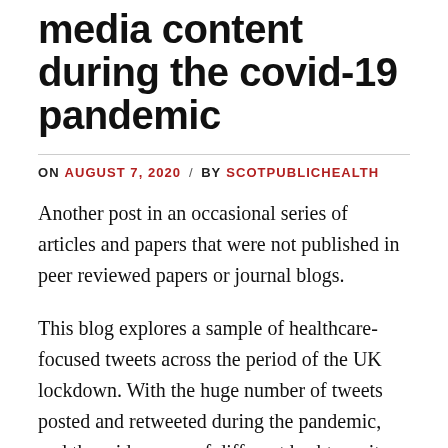media content during the covid-19 pandemic
ON AUGUST 7, 2020 / BY SCOTPUBLICHEALTH
Another post in an occasional series of articles and papers that were not published in peer reviewed papers or journal blogs.
This blog explores a sample of healthcare-focused tweets across the period of the UK lockdown. With the huge number of tweets posted and retweeted during the pandemic, and the wide range of different hashtags, it was necessary to narrow my search down to look at a single source. I chose fo...